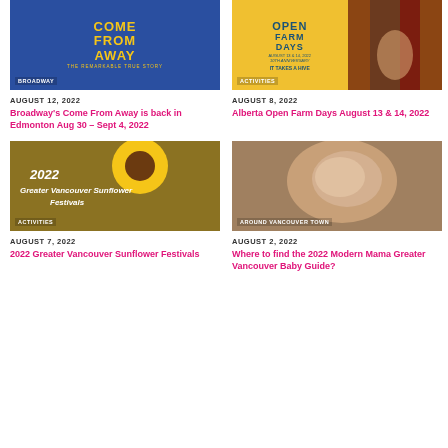[Figure (photo): Come From Away musical poster with blue background and yellow text]
BROADWAY
AUGUST 12, 2022
Broadway's Come From Away is back in Edmonton Aug 30 – Sept 4, 2022
[Figure (photo): Alberta Open Farm Days poster with yellow background and people near red barn]
ACTIVITIES
AUGUST 8, 2022
Alberta Open Farm Days August 13 & 14, 2022
[Figure (photo): 2022 Greater Vancouver Sunflower Festivals poster with sunflower on golden background]
ACTIVITIES
AUGUST 7, 2022
2022 Greater Vancouver Sunflower Festivals
[Figure (photo): Sleeping newborn baby photo]
AROUND VANCOUVER TOWN
AUGUST 2, 2022
Where to find the 2022 Modern Mama Greater Vancouver Baby Guide?